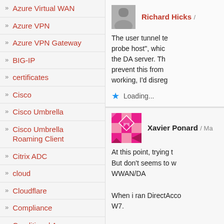» Azure Virtual WAN
» Azure VPN
» Azure VPN Gateway
» BIG-IP
» certificates
» Cisco
» Cisco Umbrella
» Cisco Umbrella Roaming Client
» Citrix ADC
» cloud
» Cloudflare
» Compliance
» Conditional Access
Richard Hicks / The user tunnel te... probe host", whic... the DA server. Th... prevent this from... working, I'd disreg... Loading...
Xavier Ponard / Ma... At this point, trying t... But don't seems to w... WWAN/DA When i ran DirectAcco... W7. It failed after Runnin... > Check not run yo...